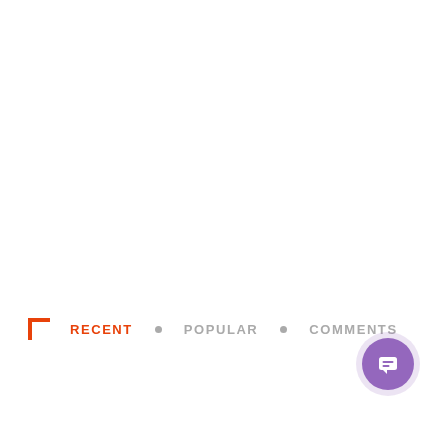RECENT • POPULAR • COMMENTS
[Figure (other): Purple chat/message button icon (circular purple button with a speech bubble icon containing horizontal lines)]